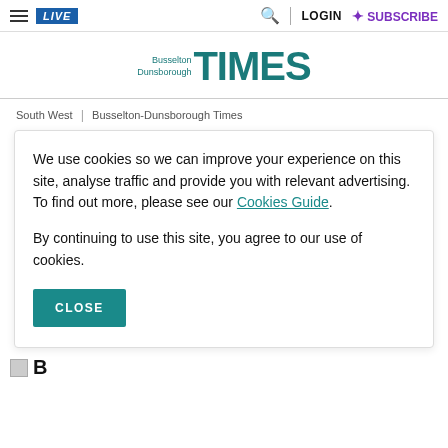LIVE | LOGIN | SUBSCRIBE
Busselton Dunsborough TIMES
South West | Busselton-Dunsborough Times
We use cookies so we can improve your experience on this site, analyse traffic and provide you with relevant advertising. To find out more, please see our Cookies Guide.

By continuing to use this site, you agree to our use of cookies.
CLOSE